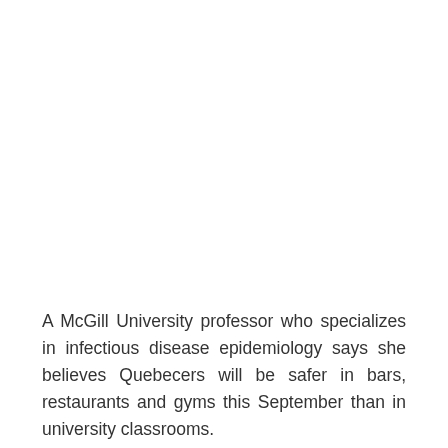A McGill University professor who specializes in infectious disease epidemiology says she believes Quebecers will be safer in bars, restaurants and gyms this September than in university classrooms.
On Friday, the Quebec government said mask-